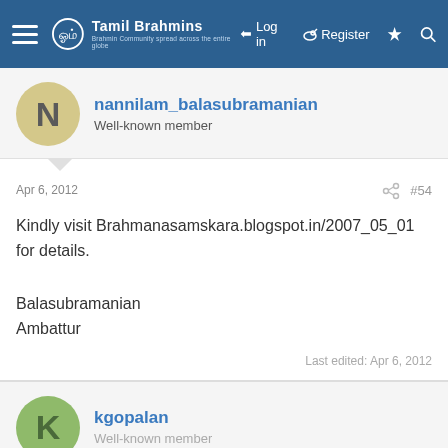Tamil Brahmins — Log in | Register
nannilam_balasubramanian
Well-known member
Apr 6, 2012  #54
Kindly visit Brahmanasamskara.blogspot.in/2007_05_01 for details.

Balasubramanian
Ambattur
Last edited: Apr 6, 2012
kgopalan
Well-known member